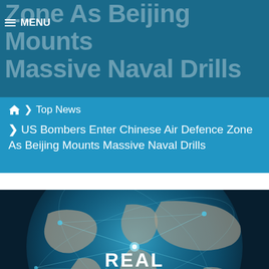Zone As Beijing Mounts Massive Naval Drills
≡ MENU
🏠 > Top News
> US Bombers Enter Chinese Air Defence Zone As Beijing Mounts Massive Naval Drills
[Figure (photo): Globe with network lines and 'REAL Verified NEWS' logo overlay on dark teal background]